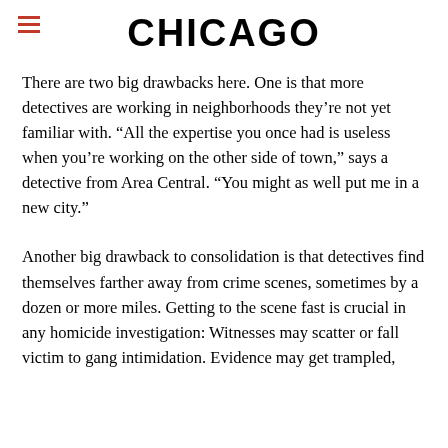CHICAGO
There are two big drawbacks here. One is that more detectives are working in neighborhoods they’re not yet familiar with. “All the expertise you once had is useless when you’re working on the other side of town,” says a detective from Area Central. “You might as well put me in a new city.”
Another big drawback to consolidation is that detectives find themselves farther away from crime scenes, sometimes by a dozen or more miles. Getting to the scene fast is crucial in any homicide investigation: Witnesses may scatter or fall victim to gang intimidation. Evidence may get trampled,